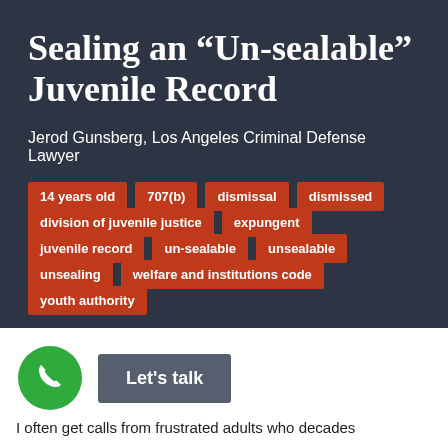Sealing an “Un-sealable” Juvenile Record
Jerod Gunsberg, Los Angeles Criminal Defense Lawyer
14 years old
707(b)
dismissal
dismissed
division of juvenile justice
expungent
juvenile record
un-sealable
unsealable
unsealing
welfare and institutions code
youth authority
Let's talk
I often get calls from frustrated adults who decades